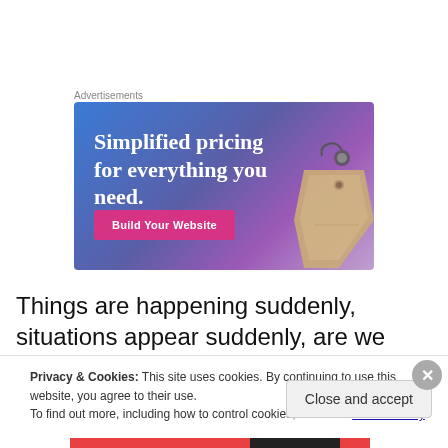Advertisements
[Figure (illustration): Advertisement banner with gradient blue-purple background showing text 'Simplified pricing for everything you need.' with a pink 'Build Your Website' button and a price tag illustration on the right.]
Things are happening suddenly, situations appear suddenly, are we ready or do we get surprised, shaken? If
Privacy & Cookies: This site uses cookies. By continuing to use this website, you agree to their use.
To find out more, including how to control cookies, see here: Cookie Policy
Close and accept